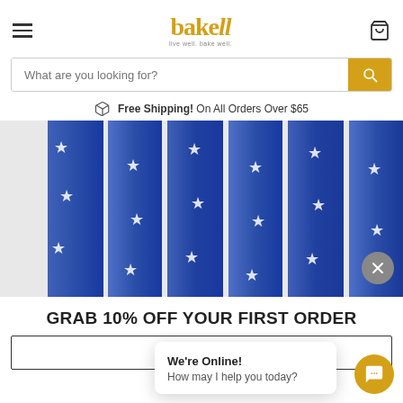bakell - live well. bake well.
What are you looking for?
Free Shipping! On All Orders Over $65
[Figure (photo): Blue paper straws with white stars pattern, bundled together, on a light grey background]
GRAB 10% OFF YOUR FIRST ORDER
We're Online! How may I help you today?